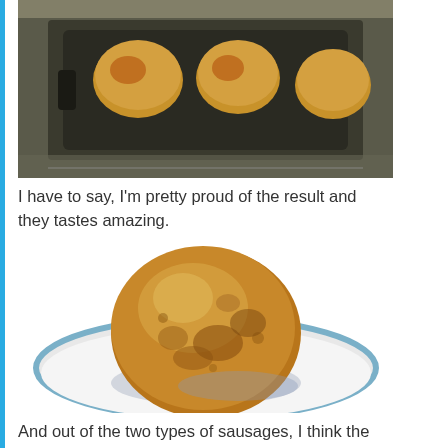[Figure (photo): Breaded food items in a dark baking tray inside an oven, viewed from above]
I have to say, I'm pretty proud of the result and they tastes amazing.
[Figure (photo): A single golden-brown breaded scotch egg or similar breaded food item on a white plate with blue rim]
And out of the two types of sausages, I think the